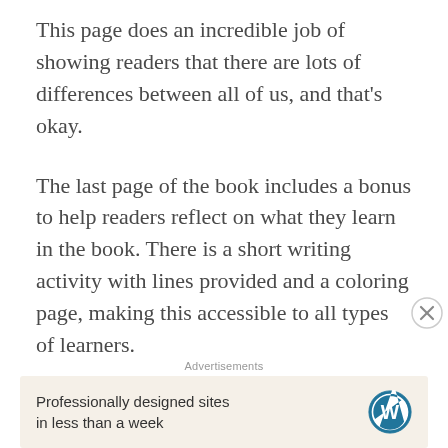This page does an incredible job of showing readers that there are lots of differences between all of us, and that’s okay.
The last page of the book includes a bonus to help readers reflect on what they learn in the book. There is a short writing activity with lines provided and a coloring page, making this accessible to all types of learners.
I suggest this book for children in K-3. This book would work really for lessons on diversity and bullying...
Advertisements
Professionally designed sites in less than a week